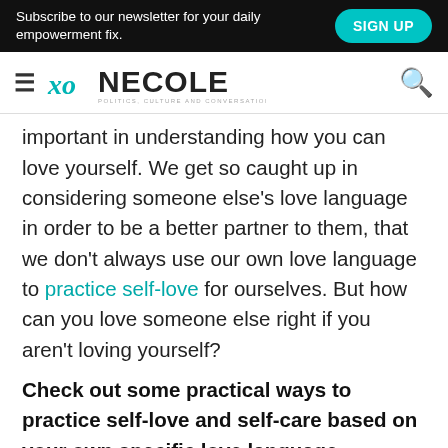Subscribe to our newsletter for your daily empowerment fix. SIGN UP
[Figure (logo): XO Necole logo with hamburger menu and search icon]
important in understanding how you can love yourself. We get so caught up in considering someone else's love language in order to be a better partner to them, that we don't always use our own love language to practice self-love for ourselves. But how can you love someone else right if you aren't loving yourself?
Check out some practical ways to practice self-love and self-care based on your own specific love language.